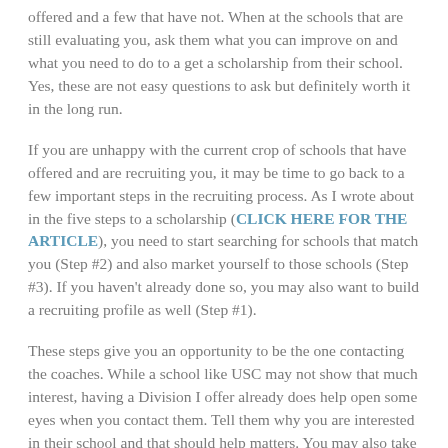offered and a few that have not. When at the schools that are still evaluating you, ask them what you can improve on and what you need to do to a get a scholarship from their school. Yes, these are not easy questions to ask but definitely worth it in the long run.
If you are unhappy with the current crop of schools that have offered and are recruiting you, it may be time to go back to a few important steps in the recruiting process. As I wrote about in the five steps to a scholarship (CLICK HERE FOR THE ARTICLE), you need to start searching for schools that match you (Step #2) and also market yourself to those schools (Step #3). If you haven't already done so, you may also want to build a recruiting profile as well (Step #1).
These steps give you an opportunity to be the one contacting the coaches. While a school like USC may not show that much interest, having a Division I offer already does help open some eyes when you contact them. Tell them why you are interested in their school and that should help matters. You may also take the time and contact your dream school that you grew up watching. It may not lead to anything but you just never know.